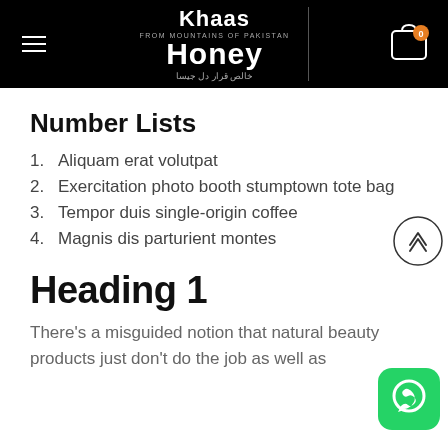Khaas Honey — FROM MOUNTAINS OF PAKISTAN
Number Lists
1. Aliquam erat volutpat
2. Exercitation photo booth stumptown tote bag
3. Tempor duis single-origin coffee
4. Magnis dis parturient montes
Heading 1
There's a misguided notion that natural beauty products just don't do the job as well as